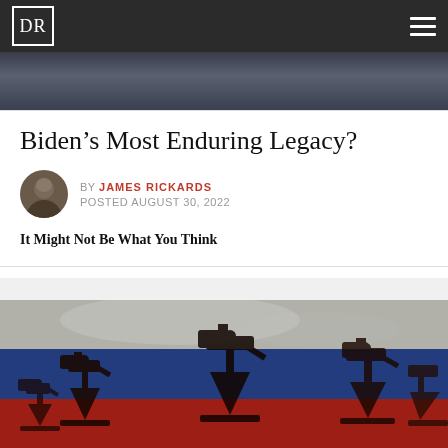DR
[Figure (photo): Dark photo strip showing people in background, partially visible at top of page]
Biden’s Most Enduring Legacy?
BY JAMES RICKARDS
POSTED AUGUST 30, 2022
It Might Not Be What You Think
[Figure (photo): Russian flag with oil pump jacks (pumpjacks) silhouetted against it. The flag shows white, blue, and red horizontal stripes. Multiple oil derricks are visible in dark silhouette.]